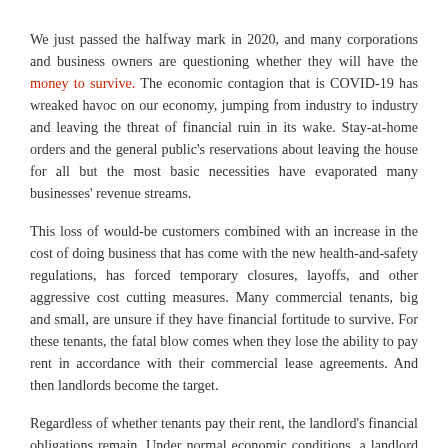We just passed the halfway mark in 2020, and many corporations and business owners are questioning whether they will have the money to survive. The economic contagion that is COVID-19 has wreaked havoc on our economy, jumping from industry to industry and leaving the threat of financial ruin in its wake. Stay-at-home orders and the general public's reservations about leaving the house for all but the most basic necessities have evaporated many businesses' revenue streams.
This loss of would-be customers combined with an increase in the cost of doing business that has come with the new health-and-safety regulations, has forced temporary closures, layoffs, and other aggressive cost cutting measures. Many commercial tenants, big and small, are unsure if they have financial fortitude to survive. For these tenants, the fatal blow comes when they lose the ability to pay rent in accordance with their commercial lease agreements. And then landlords become the target.
Regardless of whether tenants pay their rent, the landlord's financial obligations remain. Under normal economic conditions, a landlord could compensate for one tenant's